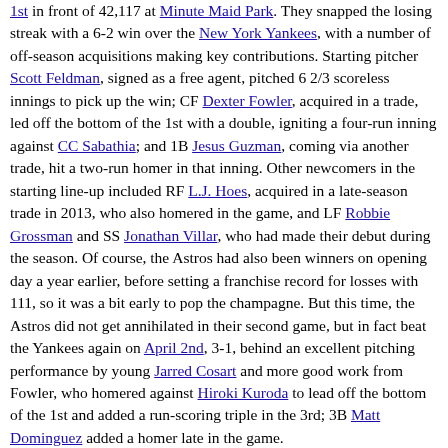1st in front of 42,117 at Minute Maid Park. They snapped the losing streak with a 6-2 win over the New York Yankees, with a number of off-season acquisitions making key contributions. Starting pitcher Scott Feldman, signed as a free agent, pitched 6 2/3 scoreless innings to pick up the win; CF Dexter Fowler, acquired in a trade, led off the bottom of the 1st with a double, igniting a four-run inning against CC Sabathia; and 1B Jesus Guzman, coming via another trade, hit a two-run homer in that inning. Other newcomers in the starting line-up included RF L.J. Hoes, acquired in a late-season trade in 2013, who also homered in the game, and LF Robbie Grossman and SS Jonathan Villar, who had made their debut during the season. Of course, the Astros had also been winners on opening day a year earlier, before setting a franchise record for losses with 111, so it was a bit early to pop the champagne. But this time, the Astros did not get annihilated in their second game, but in fact beat the Yankees again on April 2nd, 3-1, behind an excellent pitching performance by young Jarred Cosart and more good work from Fowler, who homered against Hiroki Kuroda to lead off the bottom of the 1st and added a run-scoring triple in the 3rd; 3B Matt Dominguez added a homer late in the game.
If the Astros' 2-0 start had given rise to hopes of a turnaround, those were soon dashed as they lost 6 of their next 7 games and played quite poorly during that stretch. They began 6-14, but half of the six wins came against former Cy Young winners (Félix...